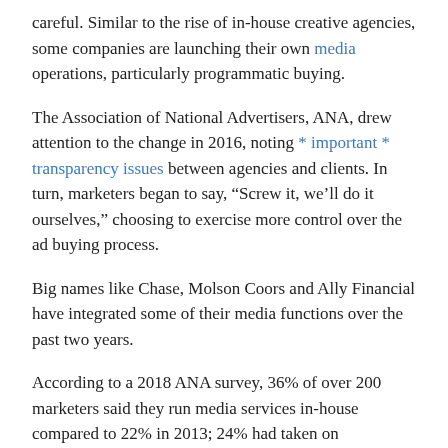careful. Similar to the rise of in-house creative agencies, some companies are launching their own media operations, particularly programmatic buying.
The Association of National Advertisers, ANA, drew attention to the change in 2016, noting * important * transparency issues between agencies and clients. In turn, marketers began to say, “Screw it, we’ll do it ourselves,” choosing to exercise more control over the ad buying process.
Big names like Chase, Molson Coors and Ally Financial have integrated some of their media functions over the past two years.
According to a 2018 ANA survey, 36% of over 200 marketers said they run media services in-house compared to 22% in 2013; 24% had taken on programmatic functions internally.